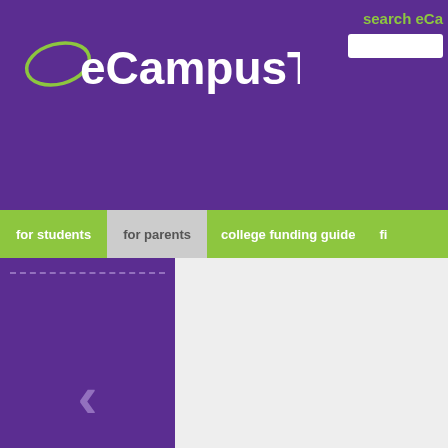eCampusTours.com
search eCa
for students | for parents | college funding guide | fi
[Figure (screenshot): Purple slide panel with left arrow chevron and dashed borders]
for parents > campus life > insurance for college students
campus life articles
addictions and problem
insurance for coll